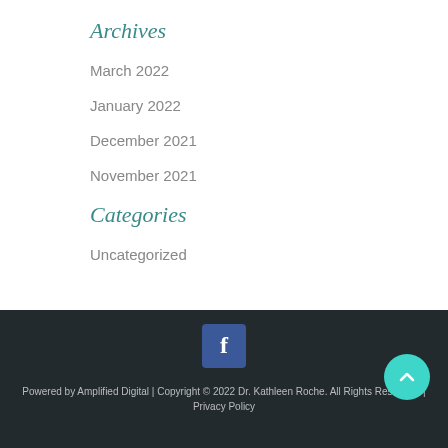Archives
March 2022
January 2022
December 2021
November 2021
Categories
Uncategorized
[Figure (logo): Facebook social media icon — blue square with white letter f]
Powered by Amplified Digital | Copyright © 2022 Dr. Kathleen Roche. All Rights Reserved. | Privacy Policy